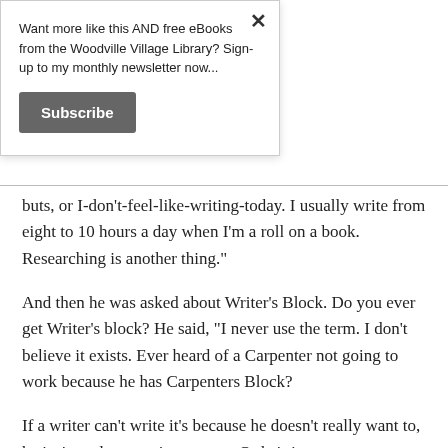Want more like this AND free eBooks from the Woodville Village Library? Sign-up to my monthly newsletter now...
Subscribe
buts, or I-don’t-feel-like-writing-today. I usually write from eight to 10 hours a day when I’m a roll on a book. Researching is another thing.”
And then he was asked about Writer’s Block. Do you ever get Writer’s block? He said, “I never use the term. I don’t believe it exists. Ever heard of a Carpenter not going to work because he has Carpenters Block?
If a writer can’t write it’s because he doesn’t really want to, he isn’t ready to get it on paper. Or he’s just